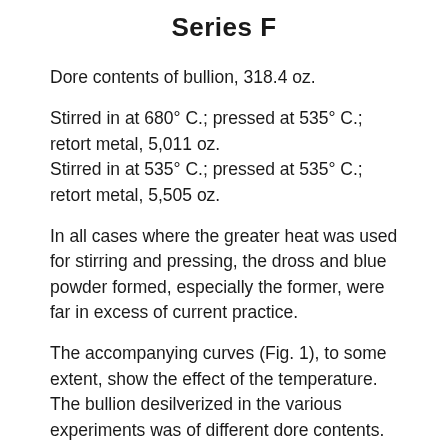Series F
Dore contents of bullion, 318.4 oz.
Stirred in at 680° C.; pressed at 535° C.; retort metal, 5,011 oz.
Stirred in at 535° C.; pressed at 535° C.; retort metal, 5,505 oz.
In all cases where the greater heat was used for stirring and pressing, the dross and blue powder formed, especially the former, were far in excess of current practice.
The accompanying curves (Fig. 1), to some extent, show the effect of the temperature. The bullion desilverized in the various experiments was of different dore contents. It is a well-known fact that a richer crust will result from high-grade bullion upon